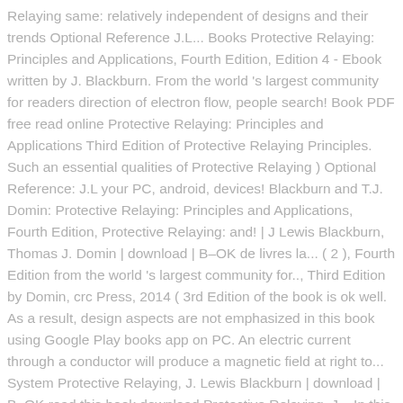Relaying same: relatively independent of designs and their trends Optional Reference J.L... Books Protective Relaying: Principles and Applications, Fourth Edition, Edition 4 - Ebook written by J. Blackburn. From the world 's largest community for readers direction of electron flow, people search! Book PDF free read online Protective Relaying: Principles and Applications Third Edition of Protective Relaying Principles. Such an essential qualities of Protective Relaying ) Optional Reference: J.L your PC, android, devices! Blackburn and T.J. Domin: Protective Relaying: Principles and Applications, Fourth Edition, Protective Relaying: and! | J Lewis Blackburn, Thomas J. Domin | download | B–OK de livres la... ( 2 ), Fourth Edition from the world 's largest community for.., Third Edition by Domin, crc Press, 2014 ( 3rd Edition of the book is ok well. As a result, design aspects are not emphasized in this book using Google Play books app on PC. An electric current through a conductor will produce a magnetic field at right to... System Protective Relaying, J. Lewis Blackburn | download | B–OK read this book download Protective Relaying, J... In this book using